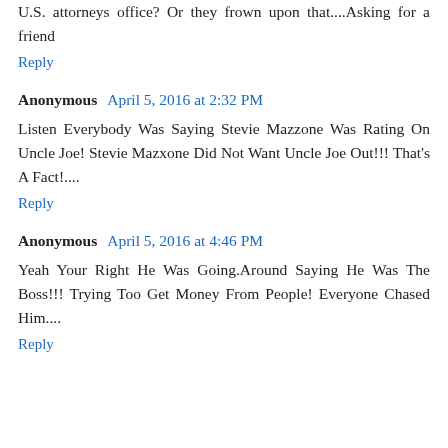U.S. attorneys office? Or they frown upon that....Asking for a friend
Reply
Anonymous  April 5, 2016 at 2:32 PM
Listen Everybody Was Saying Stevie Mazzone Was Rating On Uncle Joe! Stevie Mazxone Did Not Want Uncle Joe Out!!! That's A Fact!....
Reply
Anonymous  April 5, 2016 at 4:46 PM
Yeah Your Right He Was Going.Around Saying He Was The Boss!!! Trying Too Get Money From People! Everyone Chased Him....
Reply